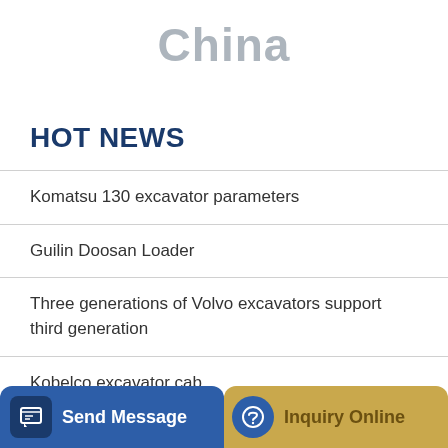China
HOT NEWS
Komatsu 130 excavator parameters
Guilin Doosan Loader
Three generations of Volvo excavators support third generation
Kobelco excavator cab